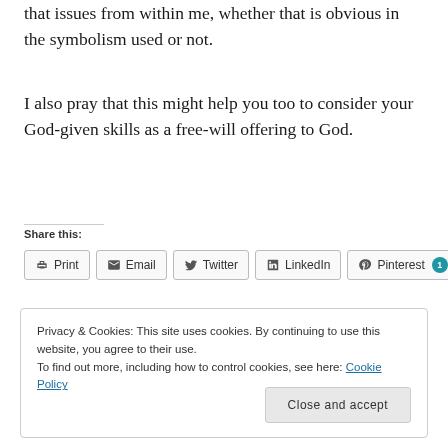that issues from within me, whether that is obvious in the symbolism used or not.
I also pray that this might help you too to consider your God-given skills as a free-will offering to God.
Share this:
[Figure (other): Social share buttons: Print, Email, Twitter, LinkedIn, Pinterest (with count badge 1)]
Privacy & Cookies: This site uses cookies. By continuing to use this website, you agree to their use.
To find out more, including how to control cookies, see here: Cookie Policy
Close and accept